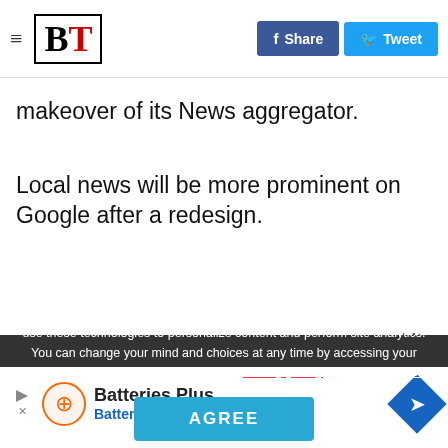BT (Business Times) - Share / Tweet buttons
makeover of its News aggregator.
Local news will be more prominent on Google after a redesign.
We Use Cookies and Related Technology Business Times and our partners use cookies and related technology to deliver relevant advertising on our site, in emails and across the Internet. We and our partners also use these technologies to personalize content and perform site analytics. You can change your mind and choices at any time by accessing your Settings. For more information, see our privacy policy and terms of use.
AGREE
Batteries Plus Batteries Plus Bulbs